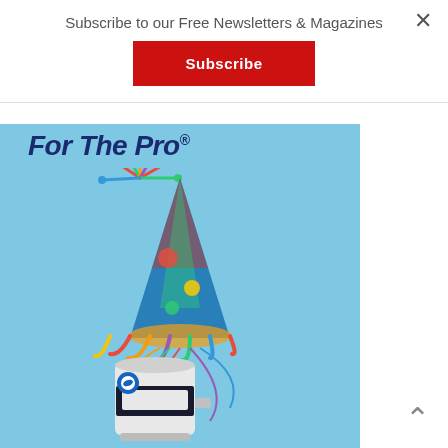Subscribe to our Free Newsletters & Magazines
Subscribe
[Figure (photo): Advertisement image on light blue background showing 'For The Pro' text with a water heater product wearing a colorful birthday party hat with streamers]
×
^